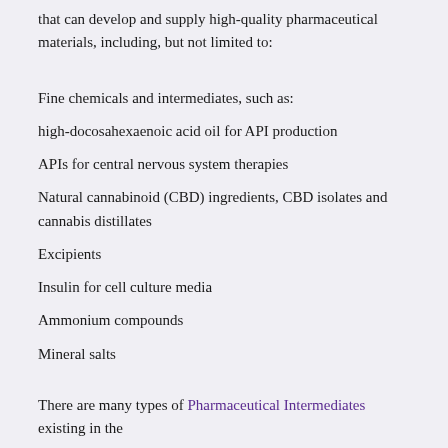that can develop and supply high-quality pharmaceutical materials, including, but not limited to:
Fine chemicals and intermediates, such as:
high-docosahexaenoic acid oil for API production
APIs for central nervous system therapies
Natural cannabinoid (CBD) ingredients, CBD isolates and cannabis distillates
Excipients
Insulin for cell culture media
Ammonium compounds
Mineral salts
There are many types of Pharmaceutical Intermediates existing in the